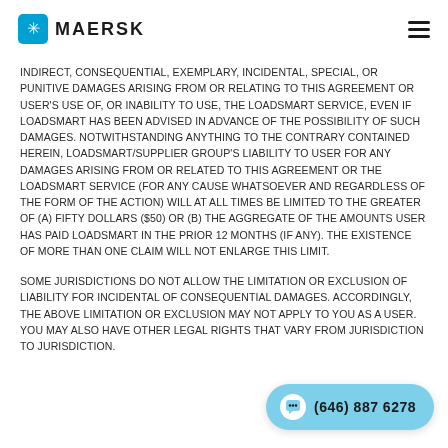MAERSK
INDIRECT, CONSEQUENTIAL, EXEMPLARY, INCIDENTAL, SPECIAL, OR PUNITIVE DAMAGES ARISING FROM OR RELATING TO THIS AGREEMENT OR USER'S USE OF, OR INABILITY TO USE, THE LOADSMART SERVICE, EVEN IF LOADSMART HAS BEEN ADVISED IN ADVANCE OF THE POSSIBILITY OF SUCH DAMAGES. NOTWITHSTANDING ANYTHING TO THE CONTRARY CONTAINED HEREIN, LOADSMART/SUPPLIER GROUP'S LIABILITY TO USER FOR ANY DAMAGES ARISING FROM OR RELATED TO THIS AGREEMENT OR THE LOADSMART SERVICE (FOR ANY CAUSE WHATSOEVER AND REGARDLESS OF THE FORM OF THE ACTION) WILL AT ALL TIMES BE LIMITED TO THE GREATER OF (A) FIFTY DOLLARS ($50) OR (B) THE AGGREGATE OF THE AMOUNTS USER HAS PAID LOADSMART IN THE PRIOR 12 MONTHS (IF ANY). THE EXISTENCE OF MORE THAN ONE CLAIM WILL NOT ENLARGE THIS LIMIT.
SOME JURISDICTIONS DO NOT ALLOW THE LIMITATION OR EXCLUSION OF LIABILITY FOR INCIDENTAL OF CONSEQUENTIAL DAMAGES. ACCORDINGLY, THE ABOVE LIMITATION OR EXCLUSION MAY NOT APPLY TO YOU AS A USER. YOU MAY ALSO HAVE OTHER LEGAL RIGHTS THAT VARY FROM JURISDICTION TO JURISDICTION.